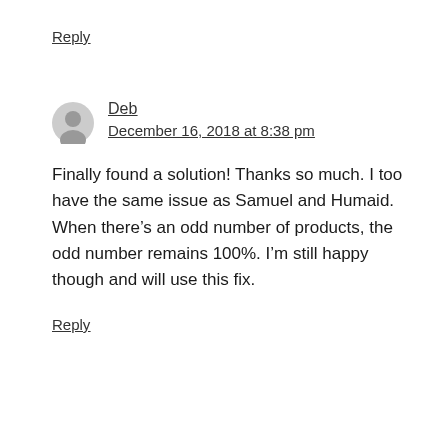Reply
Deb
December 16, 2018 at 8:38 pm
Finally found a solution! Thanks so much. I too have the same issue as Samuel and Humaid. When there’s an odd number of products, the odd number remains 100%. I’m still happy though and will use this fix.
Reply